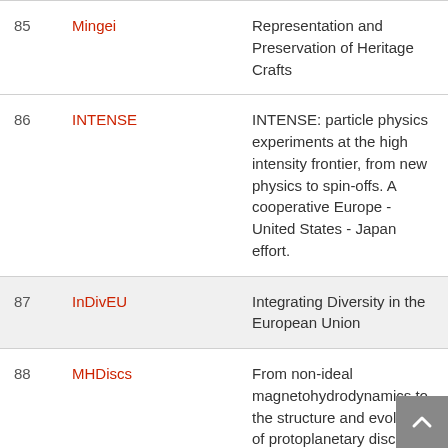|  |  |  |
| --- | --- | --- |
| 85 | Mingei | Representation and Preservation of Heritage Crafts |
| 86 | INTENSE | INTENSE: particle physics experiments at the high intensity frontier, from new physics to spin-offs. A cooperative Europe - United States - Japan effort. |
| 87 | InDivEU | Integrating Diversity in the European Union |
| 88 | MHDiscs | From non-ideal magnetohydrodynamics to the structure and evolution of protoplanetary discs |